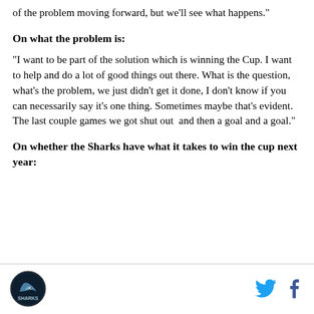of the problem moving forward, but we'll see what happens."
On what the problem is:
"I want to be part of the solution which is winning the Cup. I want to help and do a lot of good things out there. What is the question, what's the problem, we just didn't get it done, I don't know if you can necessarily say it's one thing. Sometimes maybe that's evident. The last couple games we got shut out  and then a goal and a goal."
On whether the Sharks have what it takes to win the cup next year:
[Figure (logo): San Jose Sharks logo - circular dark logo with shark graphic]
[Figure (logo): Twitter bird icon in cyan/blue color]
[Figure (logo): Facebook 'f' icon in dark blue color]